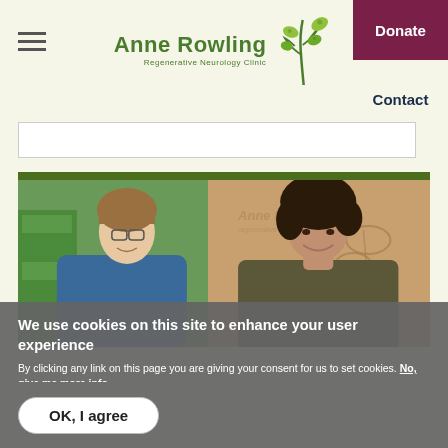Anne Rowling Regenerative Neurology Clinic — Donate — Contact
[Figure (screenshot): Two women smiling at the Anne Rowling Regenerative Neurology Clinic reception area, with the clinic logo visible on the wall behind them]
We use cookies on this site to enhance your user experience
By clicking any link on this page you are giving your consent for us to set cookies. No, give me more info
OK, I agree